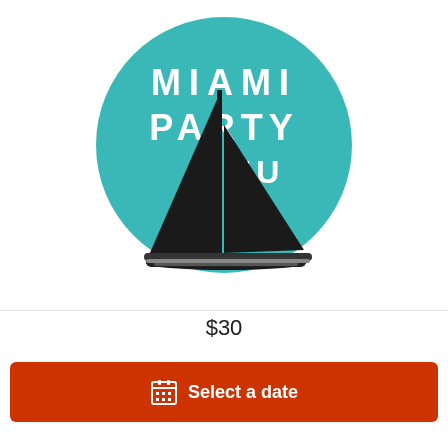[Figure (logo): Miami Party 4U logo: teal circle with white text 'MIAMI PARTY 4U' and a black sailboat illustration in front]
$30
Select a date